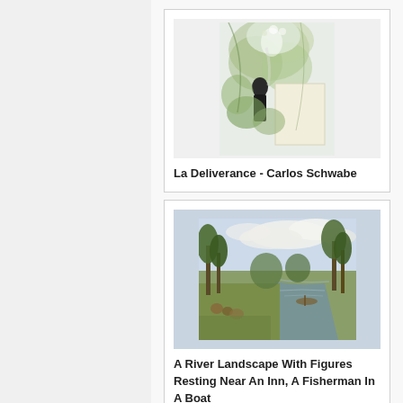[Figure (illustration): Artwork image: La Deliverance by Carlos Schwabe - a symbolist drawing with figures among foliage and a white rectangular inset]
La Deliverance - Carlos Schwabe
[Figure (photo): Artwork image: A River Landscape With Figures Resting Near An Inn, A Fisherman In A Boat - a classical painting showing a river scene with trees, figures, and cloudy sky]
A River Landscape With Figures Resting Near An Inn, A Fisherman In A Boat